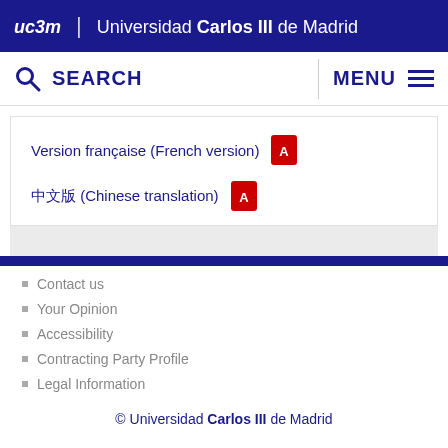uc3m | Universidad Carlos III de Madrid
SEARCH   MENU
Version française (French version) [PDF icon]
中文版 (Chinese translation) [PDF icon]
Contact us
Your Opinion
Accessibility
Contracting Party Profile
Legal Information
© Universidad Carlos III de Madrid